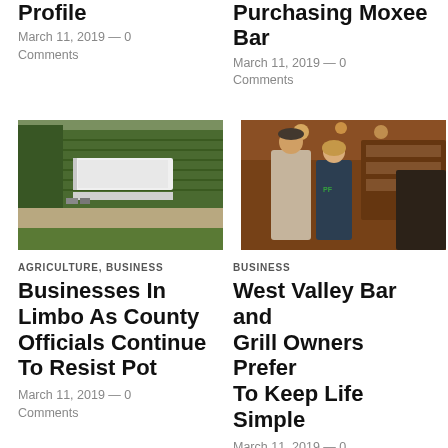Profile
March 11, 2019 — 0 Comments
Purchasing Moxee Bar
March 11, 2019 — 0 Comments
[Figure (photo): Aerial view of a farm with greenhouses and fields]
[Figure (photo): Two people (man and woman) standing inside a bar/restaurant]
AGRICULTURE, BUSINESS
Businesses In Limbo As County Officials Continue To Resist Pot
March 11, 2019 — 0 Comments
BUSINESS
West Valley Bar and Grill Owners Prefer To Keep Life Simple
March 11, 2019 — 0 Comments